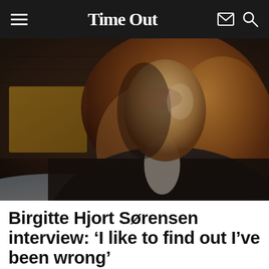Time Out
[Figure (photo): A woman with auburn/blonde hair in dramatic lighting, wearing a dark jacket, sitting in a dimly lit room with brick wall and yellow element in the background]
Birgitte Hjort Sørensen interview: ‘I like to find out I’ve been wrong’